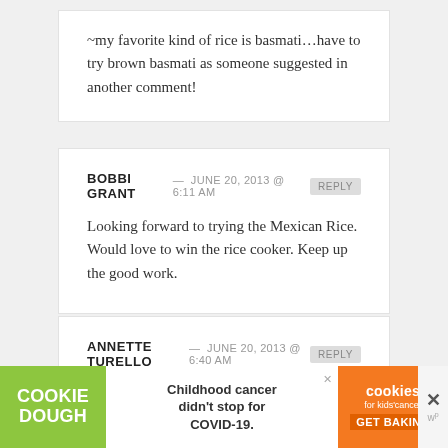~my favorite kind of rice is basmati...have to try brown basmati as someone suggested in another comment!
BOBBI GRANT — JUNE 20, 2013 @ 6:11 AM [REPLY]
Looking forward to trying the Mexican Rice. Would love to win the rice cooker. Keep up the good work.
ANNETTE TURELLO — JUNE 20, 2013 @ 6:40 AM [REPLY]
i know i would eat more RICE using the rice
[Figure (other): Advertisement banner: Cookie Dough / Cookies for Kids Cancer. Text: 'Childhood cancer didn't stop for COVID-19. GET BAKING']